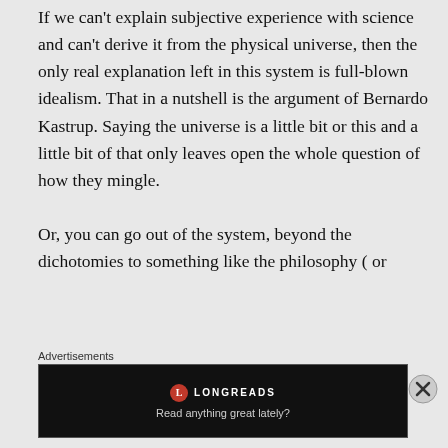If we can't explain subjective experience with science and can't derive it from the physical universe, then the only real explanation left in this system is full-blown idealism. That in a nutshell is the argument of Bernardo Kastrup. Saying the universe is a little bit or this and a little bit of that only leaves open the whole question of how they mingle.

Or, you can go out of the system, beyond the dichotomies to something like the philosophy ( or
Advertisements
[Figure (other): Longreads advertisement banner with dark background, Longreads logo (red circle with L), and tagline 'Read anything great lately?']